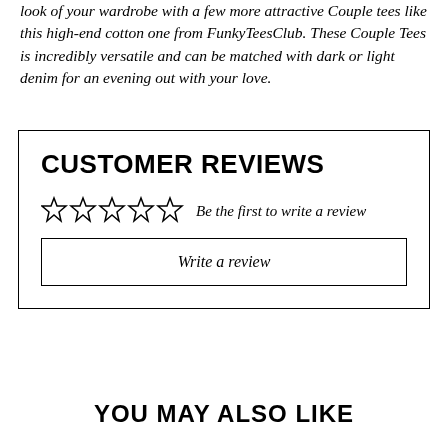look of your wardrobe with a few more attractive Couple tees like this high-end cotton one from FunkyTeesClub. These Couple Tees is incredibly versatile and can be matched with dark or light denim for an evening out with your love.
CUSTOMER REVIEWS
☆☆☆☆☆  Be the first to write a review
Write a review
YOU MAY ALSO LIKE